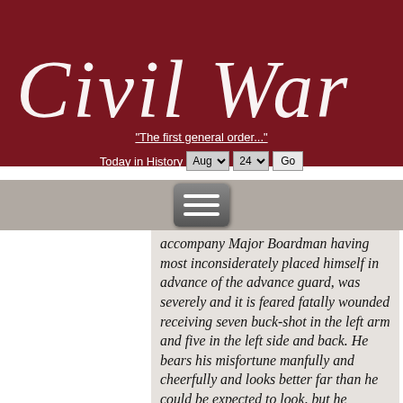[Figure (logo): Civil War cursive script logo in white on dark red background]
"The first general order..."
Today in History  Aug ▾  24 ▾  Go
[Figure (screenshot): Hamburger menu button (three horizontal white lines on dark gray rounded rectangle)]
accompany Major Boardman having most inconsiderately placed himself in advance of the advance guard, was severely and it is feared fatally wounded receiving seven buck-shot in the left arm and five in the left side and back. He bears his misfortune manfully and cheerfully and looks better far than he could be expected to look, but he complains of paralysis of his lower limbs. The surgeon confirms this, but hopes the paralysis may not be permanent. None